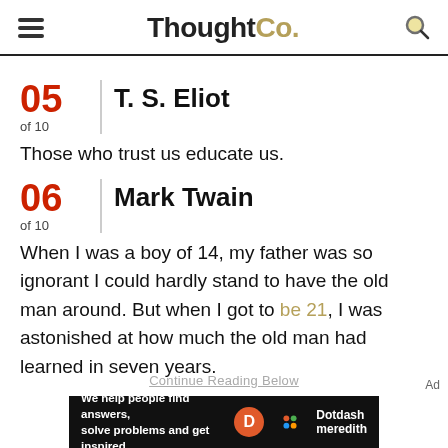ThoughtCo.
05 of 10 | T. S. Eliot
Those who trust us educate us.
06 of 10 | Mark Twain
When I was a boy of 14, my father was so ignorant I could hardly stand to have the old man around. But when I got to be 21, I was astonished at how much the old man had learned in seven years.
Continue Reading Below
[Figure (other): Dotdash Meredith advertisement banner: 'We help people find answers, solve problems and get inspired.']